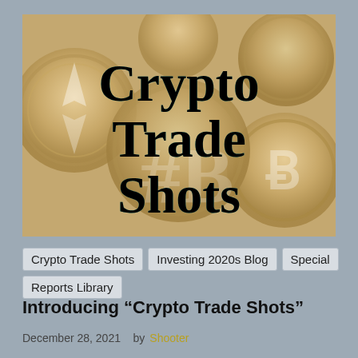[Figure (illustration): Hero image showing multiple golden cryptocurrency coins (Bitcoin, Ethereum) with text overlay reading 'Crypto Trade Shots' in large bold serif font with teal/cyan shadow]
Crypto Trade Shots
Investing 2020s Blog
Special
Reports Library
Introducing “Crypto Trade Shots”
December 28, 2021   by Shooter